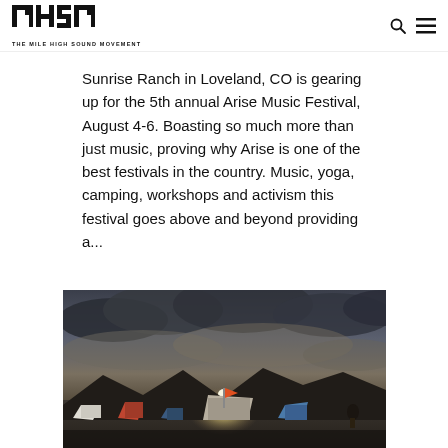THE MILE HIGH SOUND MOVEMENT
Sunrise Ranch in Loveland, CO is gearing up for the 5th annual Arise Music Festival, August 4-6. Boasting so much more than just music, proving why Arise is one of the best festivals in the country. Music, yoga, camping, workshops and activism this festival goes above and beyond providing a...
[Figure (photo): Outdoor festival campsite scene at dusk or dawn with dramatic cloudy sky, mountains in background, tents and colorful structures visible in foreground, sun breaking through clouds]